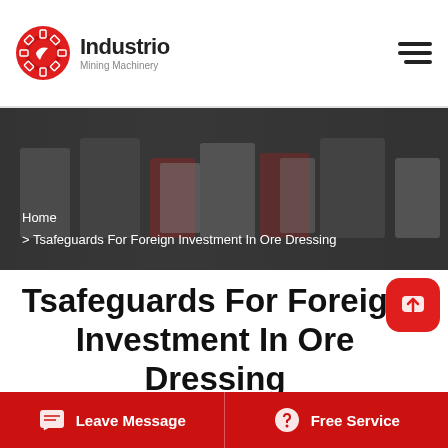Industrio Mining Machinery
[Figure (photo): Mining machinery equipment in a factory/workshop setting, hero banner image with dark overlay, showing industrial machines in red and white colors]
Home
> Tsafeguards For Foreign Investment In Ore Dressing
Tsafeguards For Foreign Investment In Ore Dressing
[Figure (photo): Partial view of industrial building interior at the bottom of the page]
Leave Message | Free Service